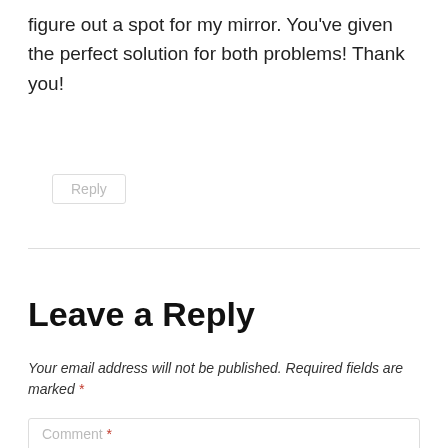figure out a spot for my mirror. You've given the perfect solution for both problems! Thank you!
Reply
Leave a Reply
Your email address will not be published. Required fields are marked *
Comment *